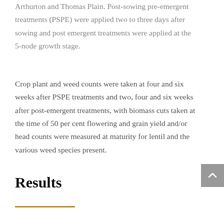Arthurton and Thomas Plain. Post-sowing pre-emergent treatments (PSPE) were applied two to three days after sowing and post emergent treatments were applied at the 5-node growth stage.
Crop plant and weed counts were taken at four and six weeks after PSPE treatments and two, four and six weeks after post-emergent treatments, with biomass cuts taken at the time of 50 per cent flowering and grain yield and/or head counts were measured at maturity for lentil and the various weed species present.
Results